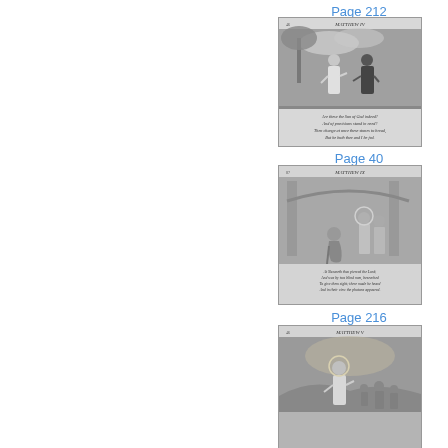Page 212
[Figure (illustration): Engraved illustration labeled MATTHEW IV showing Jesus and a dark figure (Satan) with a palm tree, with verse text below: 'Are these the Son of God indeed? / And of provisions stand in need? / Then change at once these stones to bread, / But he both thee and I be fed.']
Page 40
[Figure (illustration): Engraved illustration labeled MATTHEW IX showing Jesus healing two blind men kneeling before him with others present, with verse text below: 'At Nazareth thus pierced the Lord; / And was by two blind men, besieched / To give them sight; there made he heard / And in their view the photons appearing.']
Page 216
[Figure (illustration): Engraved illustration labeled MATTHEW V showing Jesus on a hillside with a crowd, partially visible at bottom of page.]